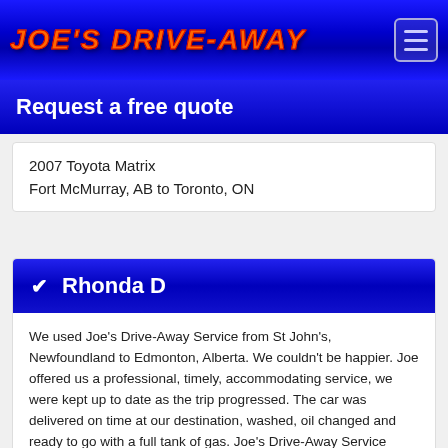Joe's Drive-Away
Request a free quote
2007 Toyota Matrix
Fort McMurray, AB to Toronto, ON
✔ Rhonda D
We used Joe's Drive-Away Service from St John's, Newfoundland to Edmonton, Alberta. We couldn't be happier. Joe offered us a professional, timely, accommodating service, we were kept up to date as the trip progressed. The car was delivered on time at our destination, washed, oil changed and ready to go with a full tank of gas. Joe's Drive-Away Service exceeded expectations. Thanks Joe, happy driving!
Uship Client
2012 subaru forester